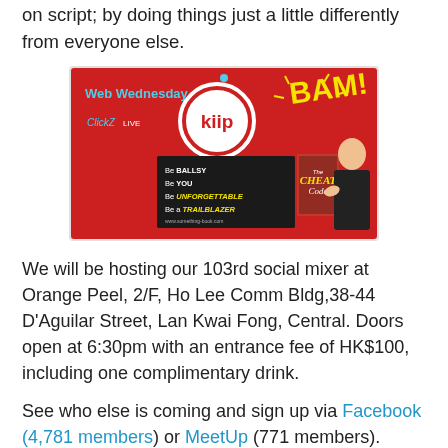on script; by doing things just a little differently from everyone else.
[Figure (photo): Event banner for Web Wednesday featuring Kiip logo, ClickZ Live logo, and a presenter holding 'The Cheat Code' book on a red background with 'BAM!' text and motivational slogans like 'Be Ballsy, Be You, Be Unforgettable, Be a Trailblazer']
We will be hosting our 103rd social mixer at Orange Peel, 2/F, Ho Lee Comm Bldg,38-44 D'Aguilar Street, Lan Kwai Fong, Central. Doors open at 6:30pm with an entrance fee of HK$100, including one complimentary drink.
See who else is coming and sign up via Facebook (4,781 members) or MeetUp (771 members).
Brian will also be a keynote speaker at ClickZ Live on 3/4 August. They have an inspiring line-up of speakers on digital commerce, digital marketing and brand strategy so well worth attending. ClickZ have kindly offered 25% off to Web